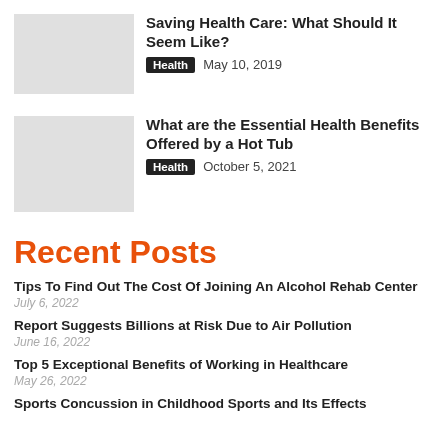Saving Health Care: What Should It Seem Like?
Health   May 10, 2019
What are the Essential Health Benefits Offered by a Hot Tub
Health   October 5, 2021
Recent Posts
Tips To Find Out The Cost Of Joining An Alcohol Rehab Center
July 6, 2022
Report Suggests Billions at Risk Due to Air Pollution
June 16, 2022
Top 5 Exceptional Benefits of Working in Healthcare
May 26, 2022
Sports Concussion in Childhood Sports and Its Effects